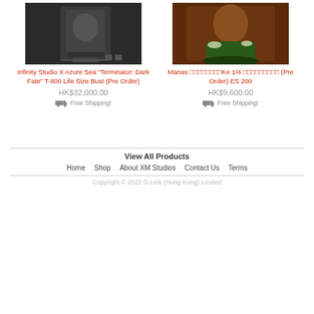[Figure (photo): Product photo of Infinity Studio X Azure Sea Terminator T-800 Life Size Bust figure in dark costume]
Infinity Studio X Azure Sea “Terminator: Dark Fate” T-800 Life Size Bust (Pre Order)
HK$32,000.00
Free Shipping!
[Figure (photo): Product photo of Manas collectible figure with Asian theme, seated on decorative base]
Manas □□□□□□□□Ke 1/4 □□□□□□□□□ (Pre Order) ES 200
HK$9,600.00
Free Shipping!
View All Products
Home   Shop   About XM Studios   Contact Us   Terms
Copyright © 2022 G-Link (Hong Kong) Limited